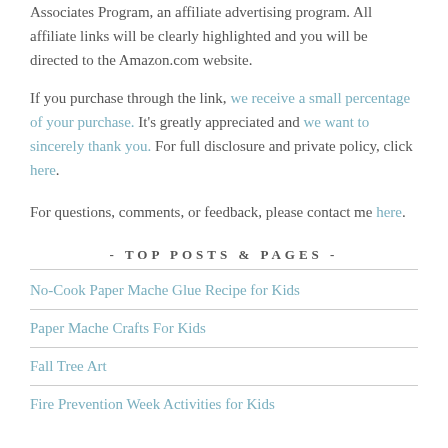Associates Program, an affiliate advertising program. All affiliate links will be clearly highlighted and you will be directed to the Amazon.com website.
If you purchase through the link, we receive a small percentage of your purchase.  It's greatly appreciated and we want to sincerely thank you. For full disclosure and private policy, click here.
For questions, comments, or feedback, please contact me here.
- TOP POSTS & PAGES -
No-Cook Paper Mache Glue Recipe for Kids
Paper Mache Crafts For Kids
Fall Tree Art
Fire Prevention Week Activities for Kids